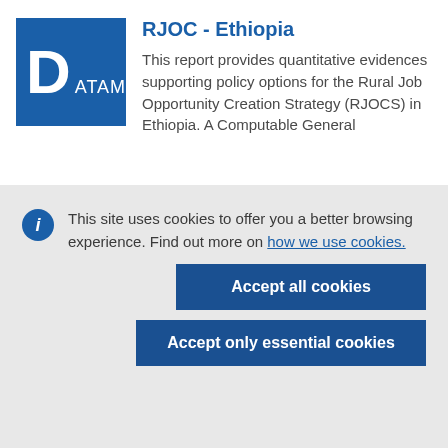[Figure (logo): Blue square logo with large white letter D and text ATAM]
RJOC - Ethiopia
This report provides quantitative evidences supporting policy options for the Rural Job Opportunity Creation Strategy (RJOCS) in Ethiopia. A Computable General
This site uses cookies to offer you a better browsing experience. Find out more on how we use cookies.
Accept all cookies
Accept only essential cookies